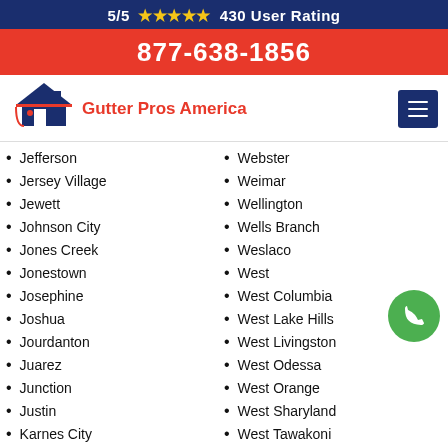5/5 ★★★★★ 430 User Rating
877-638-1856
[Figure (logo): Gutter Pros America logo with house icon and red text]
Jefferson
Jersey Village
Jewett
Johnson City
Jones Creek
Jonestown
Josephine
Joshua
Jourdanton
Juarez
Junction
Justin
Karnes City
Webster
Weimar
Wellington
Wells Branch
Weslaco
West
West Columbia
West Lake Hills
West Livingston
West Odessa
West Orange
West Sharyland
West Tawakoni